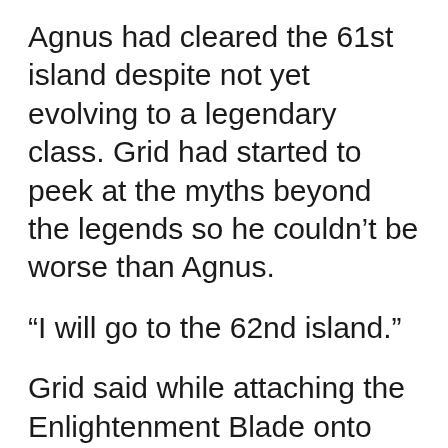Agnus had cleared the 61st island despite not yet evolving to a legendary class. Grid had started to peek at the myths beyond the legends so he couldn't be worse than Agnus.
“I will go to the 62nd island.”
Grid said while attaching the Enlightenment Blade onto Sword Ghost.
“Good luck.”